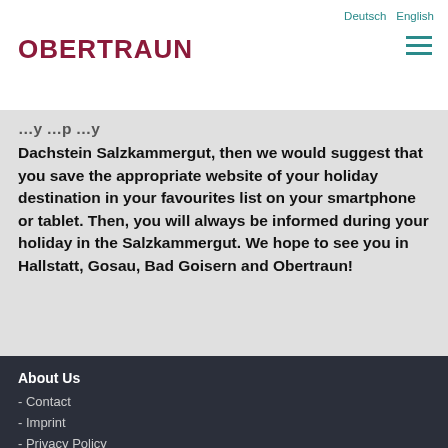Deutsch   English
OBERTRAUN
Dachstein Salzkammergut, then we would suggest that you save the appropriate website of your holiday destination in your favourites list on your smartphone or tablet. Then, you will always be informed during your holiday in the Salzkammergut. We hope to see you in Hallstatt, Gosau, Bad Goisern and Obertraun!
About Us
- Contact
- Imprint
- Privacy Policy
Towns